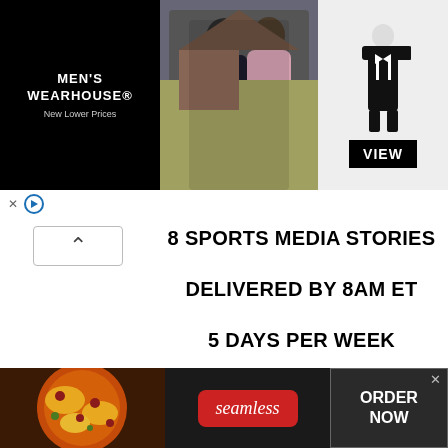[Figure (screenshot): Men's Wearhouse advertisement banner showing a couple in formalwear and a man in a tuxedo with a VIEW button]
8 SPORTS MEDIA STORIES
DELIVERED BY 8AM ET
5 DAYS PER WEEK
STRAIGHT TO YOUR INBOX
SUBSCRIBE
[Figure (screenshot): Seamless food delivery advertisement with pizza image, Seamless logo, and ORDER NOW button]